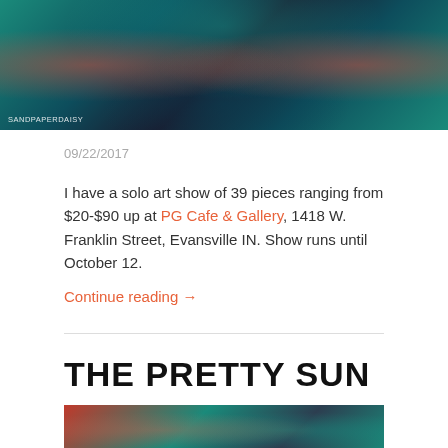[Figure (photo): Colorful digital art photo with teal and red tones, figure with dark silhouette, watermark SANDPAPERDAISY at bottom left]
09/22/2017
I have a solo art show of 39 pieces ranging from $20-$90 up at PG Cafe & Gallery, 1418 W. Franklin Street, Evansville IN. Show runs until October 12.
Continue reading →
THE PRETTY SUN
[Figure (photo): Partial colorful digital art photo with teal and red tones, cropped at bottom of page]